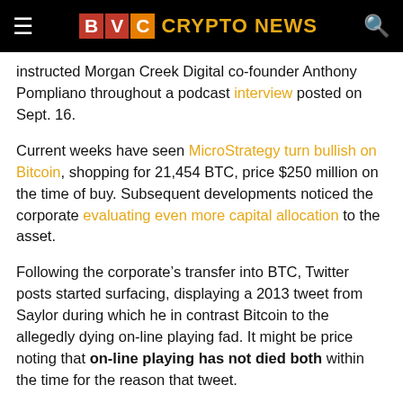BVC CRYPTO NEWS
instructed Morgan Creek Digital co-founder Anthony Pompliano throughout a podcast interview posted on Sept. 16.
Current weeks have seen MicroStrategy turn bullish on Bitcoin, shopping for 21,454 BTC, price $250 million on the time of buy. Subsequent developments noticed the corporate evaluating even more capital allocation to the asset.
Following the corporate’s transfer into BTC, Twitter posts started surfacing, displaying a 2013 tweet from Saylor during which he in contrast Bitcoin to the allegedly dying on-line playing fad. It might be price noting that on-line playing has not died both within the time for the reason that tweet.